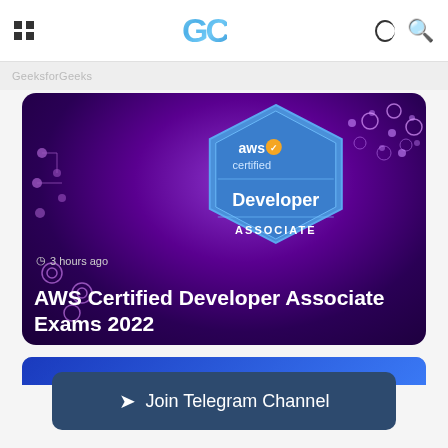GC
[Figure (screenshot): AWS Certified Developer Associate badge on purple circuit board background with text '3 hours ago' and title 'AWS Certified Developer Associate Exams 2022']
AWS Certified Developer Associate Exams 2022
[Figure (screenshot): Partial blue banner card below main hero image]
Join Telegram Channel